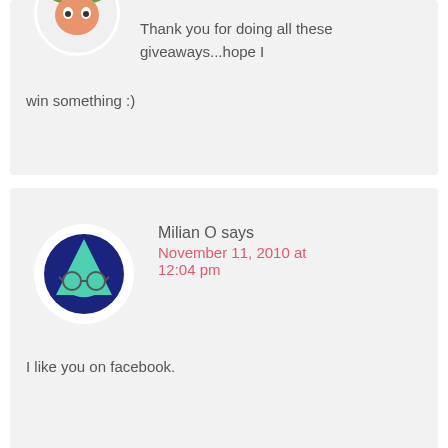Thank you for doing all these giveaways...hope I win something :)
Milian O says
November 11, 2010 at 12:04 pm
I like you on facebook.